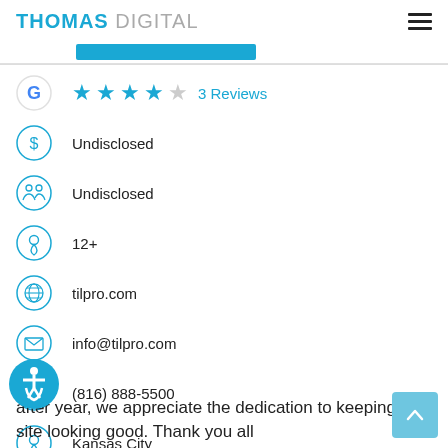THOMAS DIGITAL
★★★★☆ 3 Reviews
Undisclosed
Undisclosed
12+
tilpro.com
info@tilpro.com
(816) 888-5500
Kansas City
after year, we appreciate the dedication to keeping our site looking good. Thank you all